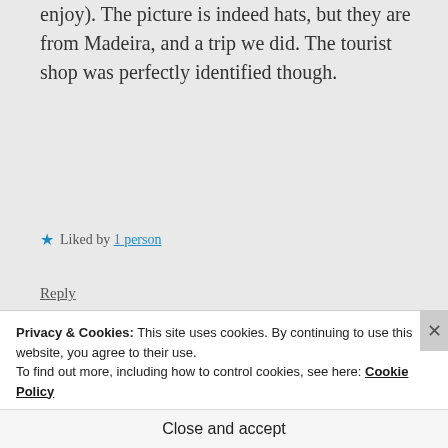enjoy). The picture is indeed hats, but they are from Madeira, and a trip we did. The tourist shop was perfectly identified though.
★ Liked by 1 person
Reply
James says: December 20, 2017 at 7:29 am
Privacy & Cookies: This site uses cookies. By continuing to use this website, you agree to their use.
To find out more, including how to control cookies, see here: Cookie Policy
Close and accept